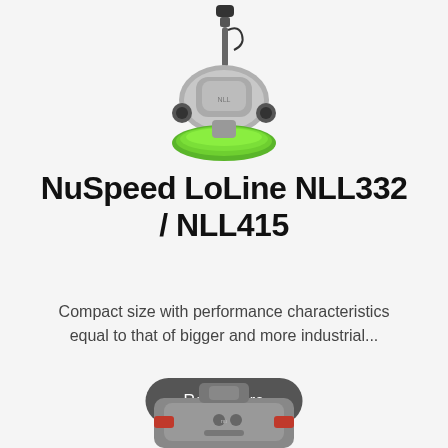[Figure (photo): Floor scrubber machine (NuSpeed LoLine NLL332/NLL415) — grey body with green circular brush at bottom, viewed from front-side angle, partially cropped at top]
NuSpeed LoLine NLL332 / NLL415
Compact size with performance characteristics equal to that of bigger and more industrial...
Read more
[Figure (photo): Partial view of another floor cleaning machine at the bottom of the page, grey/dark colored, cropped]